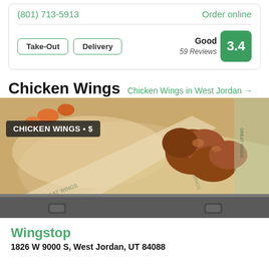(801) 713-5913
Order online
Take-Out
Delivery
Good 59 Reviews 3.4
Chicken Wings
Chicken Wings in West Jordan →
[Figure (photo): Photo of chicken wings in a basket lined with branded paper in a metal tray, with overlay label 'CHICKEN WINGS • $']
Wingstop
1826 W 9000 S, West Jordan, UT 84088